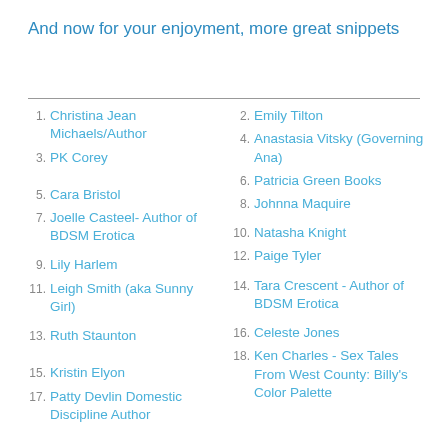And now for your enjoyment, more great snippets
1. Christina Jean Michaels/Author
2. Emily Tilton
3. PK Corey
4. Anastasia Vitsky (Governing Ana)
5. Cara Bristol
6. Patricia Green Books
7. Joelle Casteel- Author of BDSM Erotica
8. Johnna Maquire
9. Lily Harlem
10. Natasha Knight
11. Leigh Smith (aka Sunny Girl)
12. Paige Tyler
13. Ruth Staunton
14. Tara Crescent - Author of BDSM Erotica
15. Kristin Elyon
16. Celeste Jones
17. Patty Devlin Domestic Discipline Author
18. Ken Charles - Sex Tales From West County: Billy's Color Palette